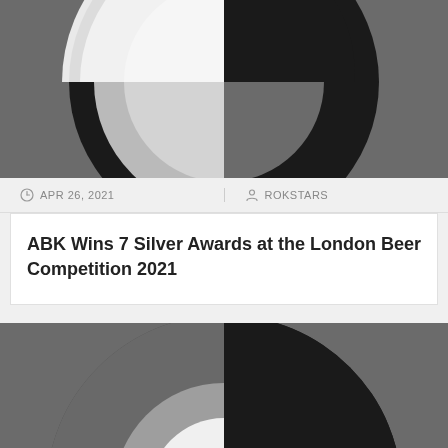[Figure (logo): Black and white circular logo/emblem, partially cropped at top, showing quadrant design on dark grey background]
APR 26, 2021   ROKSTARS
ABK Wins 7 Silver Awards at the London Beer Competition 2021
[Figure (logo): Black and white circular logo/emblem, full view, showing quadrant ring design on dark grey background]